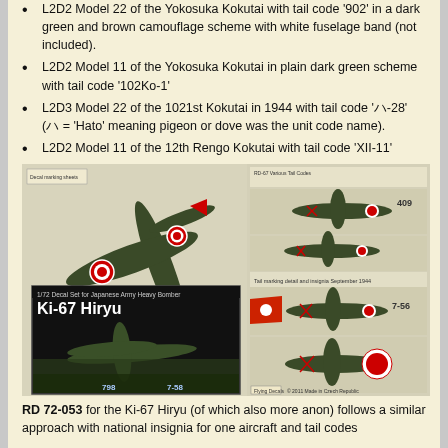L2D2 Model 22 of the Yokosuka Kokutai with tail code '902' in a dark green and brown camouflage scheme with white fuselage band (not included).
L2D2 Model 11 of the Yokosuka Kokutai in plain dark green scheme with tail code '102Ko-1'
L2D3 Model 22 of the 1021st Kokutai in 1944 with tail code 'ハ-28' (ハ = 'Hato' meaning pigeon or dove was the unit code name).
L2D2 Model 11 of the 12th Rengo Kokutai with tail code 'XII-11'
[Figure (photo): A composite image showing WWII Japanese aircraft decal sheet artwork. Left side shows top-view of a dark green Japanese transport aircraft with red hinomaru markings. Below that is a Ki-67 Hiryu decal box art showing the bomber aircraft on the ground. Right side shows side-profile views of multiple Japanese navy aircraft variants with tail codes including 409 and 7-56.]
RD 72-053 for the Ki-67 Hiryu (of which also more anon) follows a similar approach with national insignia for one aircraft and tail codes